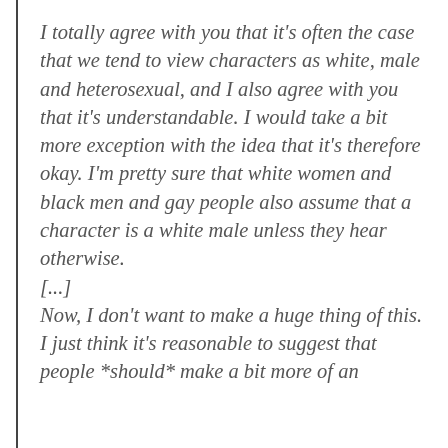I totally agree with you that it's often the case that we tend to view characters as white, male and heterosexual, and I also agree with you that it's understandable. I would take a bit more exception with the idea that it's therefore okay. I'm pretty sure that white women and black men and gay people also assume that a character is a white male unless they hear otherwise. [...] Now, I don't want to make a huge thing of this. I just think it's reasonable to suggest that people *should* make a bit more of an